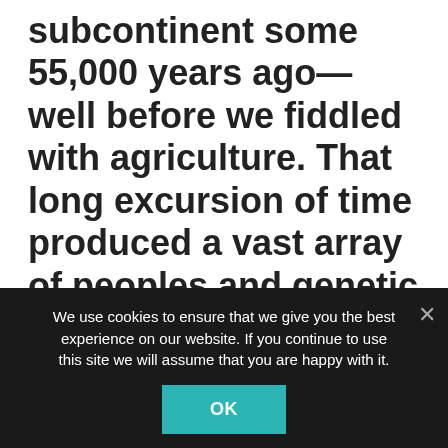subcontinent some 55,000 years ago—well before we fiddled with agriculture. That long excursion of time produced a vast array of peoples and genetic diversity, second only to Africa.

Once they settled near the Indus River basin, about 9000 years ago
We use cookies to ensure that we give you the best experience on our website. If you continue to use this site we will assume that you are happy with it.
OK